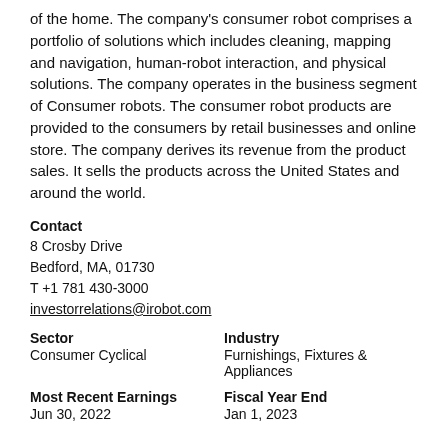of the home. The company's consumer robot comprises a portfolio of solutions which includes cleaning, mapping and navigation, human-robot interaction, and physical solutions. The company operates in the business segment of Consumer robots. The consumer robot products are provided to the consumers by retail businesses and online store. The company derives its revenue from the product sales. It sells the products across the United States and around the world.
Contact
8 Crosby Drive
Bedford, MA, 01730
T +1 781 430-3000
investorrelations@irobot.com
Sector
Consumer Cyclical
Industry
Furnishings, Fixtures & Appliances
Most Recent Earnings
Jun 30, 2022
Fiscal Year End
Jan 1, 2023